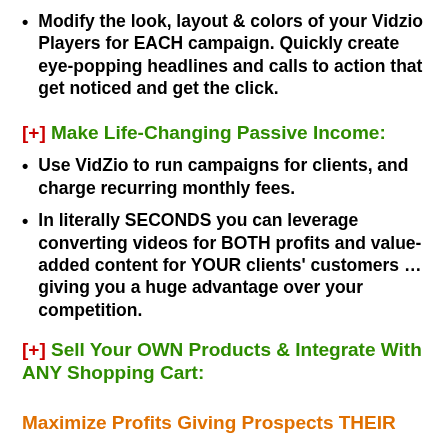Modify the look, layout & colors of your Vidzio Players for EACH campaign. Quickly create eye-popping headlines and calls to action that get noticed and get the click.
[+] Make Life-Changing Passive Income:
Use VidZio to run campaigns for clients, and charge recurring monthly fees.
In literally SECONDS you can leverage converting videos for BOTH profits and value-added content for YOUR clients' customers … giving you a huge advantage over your competition.
[+] Sell Your OWN Products & Integrate With ANY Shopping Cart:
Maximize Profits Giving Prospects THEIR